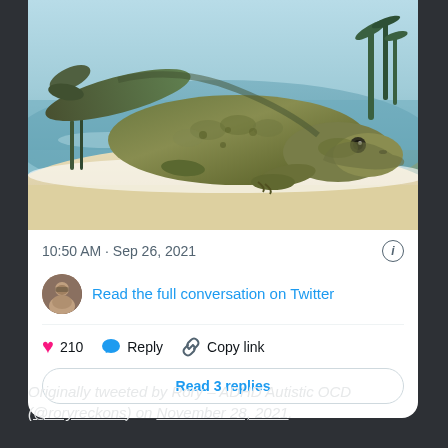[Figure (illustration): Scientific illustration of a Tiktaalik or similar transitional fish-tetrapod creature crawling from water onto a sandy shore, with aquatic plants in the background.]
10:50 AM · Sep 26, 2021
Read the full conversation on Twitter
210   Reply   Copy link
Read 3 replies
Originally tweeted by Rory – ADHD Autistic OCD (@roryreckons) on November 28, 2021.